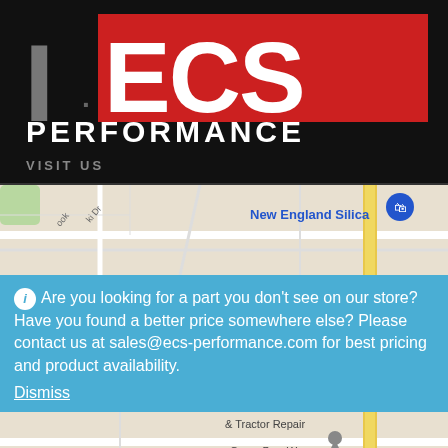[Figure (logo): ECS Performance logo — large stylized 'I·ECS' text in gray and red on black background, with 'PERFORMANCE' in white bold caps below]
VISIT US
[Figure (map): Top portion of Google Maps showing street map with 'New England Silica' label and shopping bag pin icon]
Are you looking for a part you don't see on our store? Have you found a better price somewhere else? Please contact us at sales@ecs-performance.com for best pricing and product availability.
Dismiss
[Figure (map): Bottom portion of Google Maps showing '& Tractor Repair', 'Camp Bow Wow', and 'All American Waste' labels with map pins]